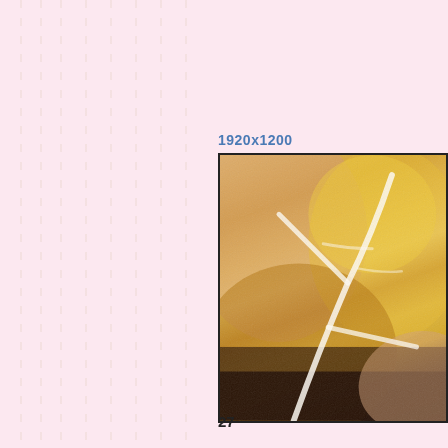1920x1200
[Figure (photo): Close-up macro photograph of a flower petal showing white veins/ridges against golden-yellow and pink-orange petal surface, with dark brown background at bottom]
27